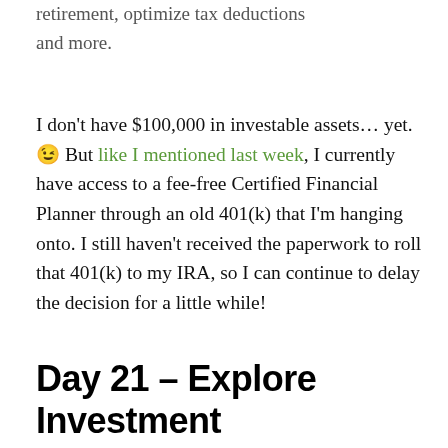retirement, optimize tax deductions and more.
I don't have $100,000 in investable assets... yet. 😉 But like I mentioned last week, I currently have access to a fee-free Certified Financial Planner through an old 401(k) that I'm hanging onto. I still haven't received the paperwork to roll that 401(k) to my IRA, so I can continue to delay the decision for a little while!
Day 21 – Explore Investment Strategies